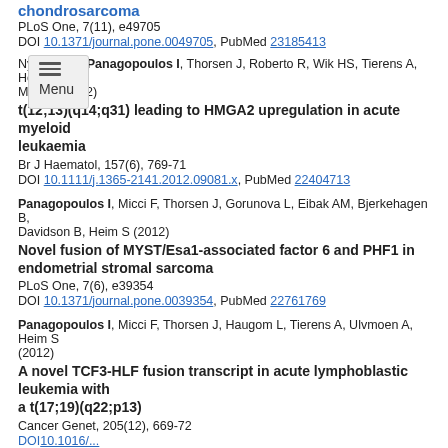chondrosarcoma
PLoS One, 7(11), e49705
DOI 10.1371/journal.pone.0049705, PubMed 23185413
Nyquist KB, Panagopoulos I, Thorsen J, Roberto R, Wik HS, Tierens A, Heim S, Micci F (2012)
t(12;13)(q14;q31) leading to HMGA2 upregulation in acute myeloid leukaemia
Br J Haematol, 157(6), 769-71
DOI 10.1111/j.1365-2141.2012.09081.x, PubMed 22404713
Panagopoulos I, Micci F, Thorsen J, Gorunova L, Eibak AM, Bjerkehagen B, Davidson B, Heim S (2012)
Novel fusion of MYST/Esa1-associated factor 6 and PHF1 in endometrial stromal sarcoma
PLoS One, 7(6), e39354
DOI 10.1371/journal.pone.0039354, PubMed 22761769
Panagopoulos I, Micci F, Thorsen J, Haugom L, Tierens A, Ulvmoen A, Heim S (2012)
A novel TCF3-HLF fusion transcript in acute lymphoblastic leukemia with a t(17;19)(q22;p13)
Cancer Genet, 205(12), 669-72
DOI 10.1016/...